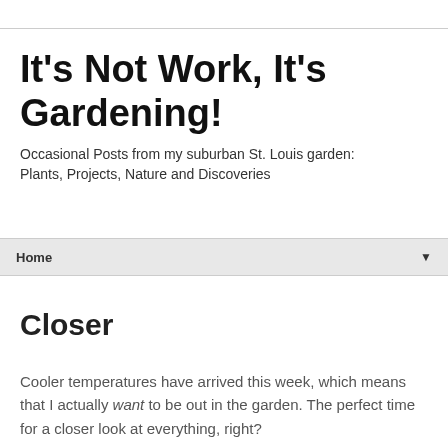It's Not Work, It's Gardening!
Occasional Posts from my suburban St. Louis garden: Plants, Projects, Nature and Discoveries
Home ▼
Wednesday, August 12, 2015
Closer
Cooler temperatures have arrived this week, which means that I actually want to be out in the garden. The perfect time for a closer look at everything, right?